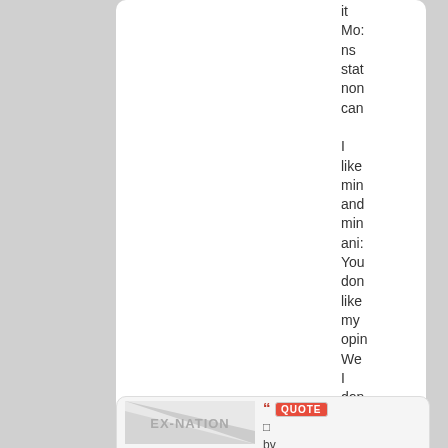it Mo: ns stat non can

I like min and min ani: You don like my opin We I don can
[Figure (screenshot): EX-NATION flag image placeholder — grey diagonal stripes]
QUOTE by Union of States